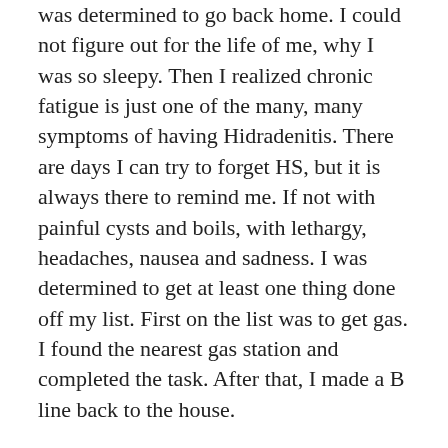was determined to go back home. I could not figure out for the life of me, why I was so sleepy. Then I realized chronic fatigue is just one of the many, many symptoms of having Hidradenitis. There are days I can try to forget HS, but it is always there to remind me. If not with painful cysts and boils, with lethargy, headaches, nausea and sadness. I was determined to get at least one thing done off my list. First on the list was to get gas. I found the nearest gas station and completed the task. After that, I made a B line back to the house.
It felt like I was all dressed up with nowhere to go, except I couldn't go anywhere. I did not have the energy or the strength.  Might I add, I was looking very cute. I actually got dressed and put on my nice clothes. When I am in my Hello Kitty pajamas and a bonnet, it seems like I have the strength of a